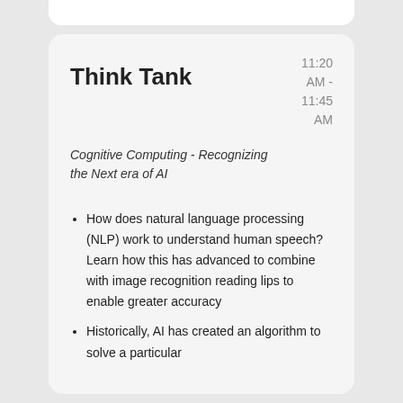Think Tank
11:20 AM - 11:45 AM
Cognitive Computing - Recognizing the Next era of AI
How does natural language processing (NLP) work to understand human speech? Learn how this has advanced to combine with image recognition reading lips to enable greater accuracy
Historically, AI has created an algorithm to solve a particular